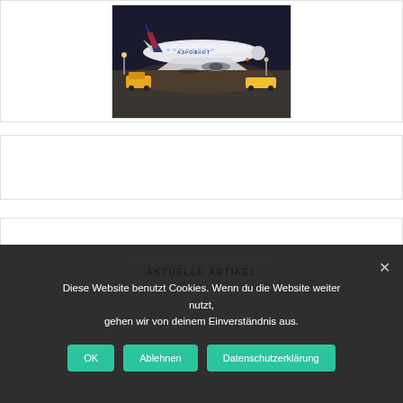[Figure (photo): Photograph of a commercial airplane on a tarmac at night, with airport ground/service vehicles visible in the background. The aircraft has airline livery text visible on the fuselage.]
AKTUELLE ARTIKEL
Diese Website benutzt Cookies. Wenn du die Website weiter nutzt, gehen wir von deinem Einverständnis aus.
OK  Ablehnen  Datenschutzerklärung